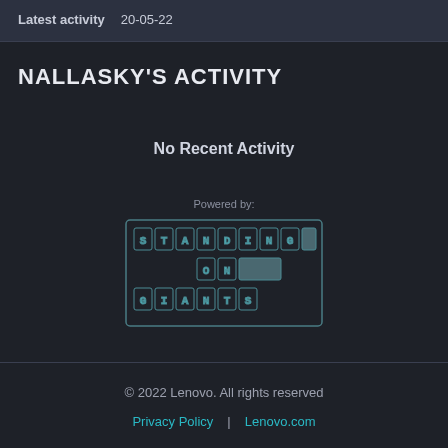Latest activity  20-05-22
NALLASKY'S ACTIVITY
No Recent Activity
[Figure (logo): Standing on Giants logo with letter tiles arranged in a grid pattern showing 'STANDING ON GIANTS']
© 2022 Lenovo. All rights reserved
Privacy Policy | Lenovo.com